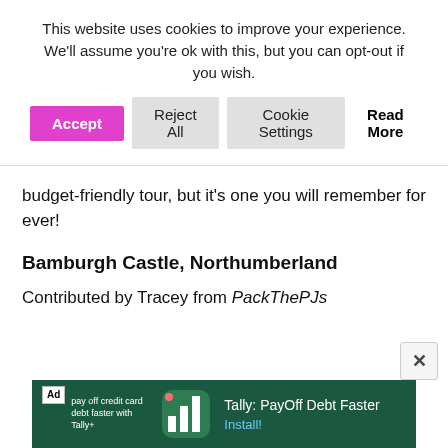This website uses cookies to improve your experience. We'll assume you're ok with this, but you can opt-out if you wish.
Accept | Reject All | Cookie Settings | Read More
budget-friendly tour, but it’s one you will remember for ever!
Bamburgh Castle, Northumberland
Contributed by Tracey from PackThePJs
[Figure (screenshot): Advertisement banner for Tally: PayOff Debt Faster app with green background and bar chart graphic]